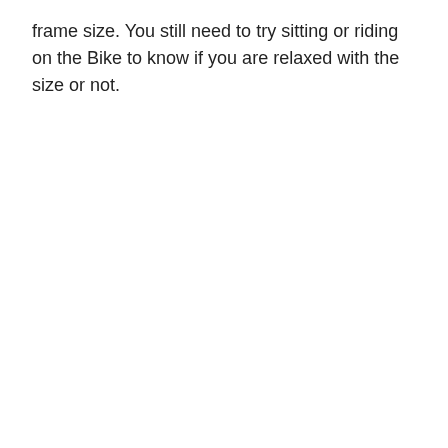frame size. You still need to try sitting or riding on the Bike to know if you are relaxed with the size or not.